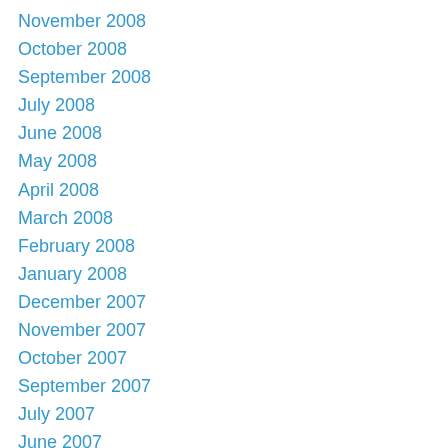November 2008
October 2008
September 2008
July 2008
June 2008
May 2008
April 2008
March 2008
February 2008
January 2008
December 2007
November 2007
October 2007
September 2007
July 2007
June 2007
May 2007
April 2007
March 2007
February 2007